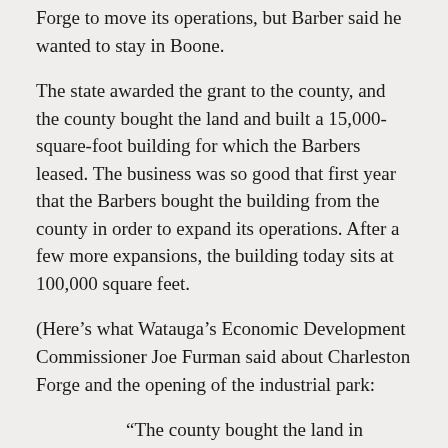Forge to move its operations, but Barber said he wanted to stay in Boone.
The state awarded the grant to the county, and the county bought the land and built a 15,000-square-foot building for which the Barbers leased. The business was so good that first year that the Barbers bought the building from the county in order to expand its operations. After a few more expansions, the building today sits at 100,000 square feet.
(Here’s what Watauga’s Economic Development Commissioner Joe Furman said about Charleston Forge and the opening of the industrial park:
“The county bought the land in 1984, and using grant funds, built the original metal Charleston Forge building and leased it to them in 1987. Subsequently, Charleston Forge purchased the land and building from the county and constructed additions and purchased another small parcel of